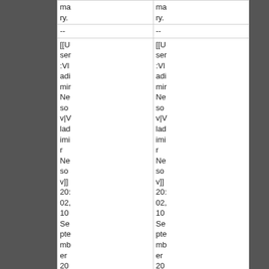| mary. | mary. |
| -- | -- |
| [[User:Vladimir Nesov|Vladimir Nesov]] 20:02, 10 September 2009 | [[User:Vladimir Nesov|Vladimir Nesov]] 20:02, 10 September 2009 |